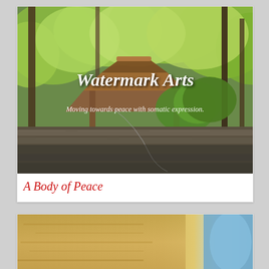[Figure (photo): Forest scene with a wooden pavilion/gazebo surrounded by lush green trees, with stone terracing in the foreground. Text overlay reads 'Watermark Arts' and 'Moving towards peace with somatic expression.']
A Body of Peace
[Figure (photo): Close-up of sandy or grainy texture with a blue element visible on the right side, partially cut off at the bottom of the page.]